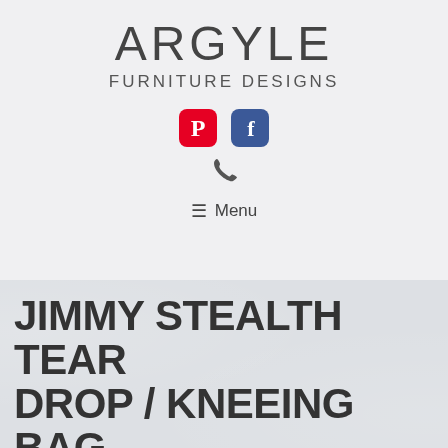ARGYLE FURNITURE DESIGNS
[Figure (logo): Pinterest and Facebook social media icons]
[Figure (other): Phone icon]
≡ Menu
JIMMY STEALTH TEAR DROP / KNEEING BAG
HOME ▶ PRODUCTS ▶ BOXING BAGS ▶ JIMMY STEALTH TEAR DROP / KNEEING BAG